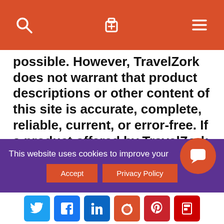[TravelZork navigation bar with search, luggage, and menu icons]
possible. However, TravelZork does not warrant that product descriptions or other content of this site is accurate, complete, reliable, current, or error-free. If a product offered by TravelZork itself is not as described, your sole remedy is to return it in unused condition.
DISCLAIMER OF WARRANTIES AND LIMITATION OF LIABILITY THIS SITE IS PROVIDED BY TravelZork ON AN “AS IS” AND “AS AVAILABLE” BASIS. TravelZork MAKES NO
This website uses cookies to improve your experience.
Accept   Privacy Policy